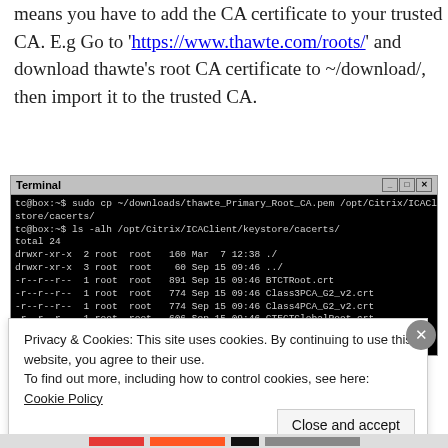means you have to add the CA certificate to your trusted CA. E.g Go to 'https://www.thawte.com/roots/' and download thawte's root CA certificate to ~/download/, then import it to the trusted CA.
[Figure (screenshot): Terminal window showing sudo cp and ls -alh commands for Citrix ICAClient keystore/cacerts directory listing including BTCTRoot.crt, Class3PCA_G2_v2.crt, Class4PCA_G2_v2.crt, GTECTGlobalRoot.crt, Pcs3ss_v4.crt, thawte_Primary_Root_CA.pem]
Privacy & Cookies: This site uses cookies. By continuing to use this website, you agree to their use.
To find out more, including how to control cookies, see here: Cookie Policy
Close and accept